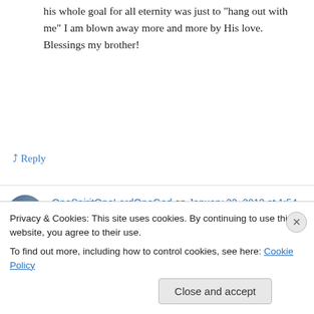his whole goal for all eternity was just to “hang out with me” I am blown away more and more by His love. Blessings my brother!
↳ Reply
OneSpiritOneLordOneGod on January 22, 2013 at 1:54 am
Hello Dylan..this is my blog of which I have not blogged in a while, but check it out if you like.
Privacy & Cookies: This site uses cookies. By continuing to use this website, you agree to their use.
To find out more, including how to control cookies, see here: Cookie Policy
Close and accept